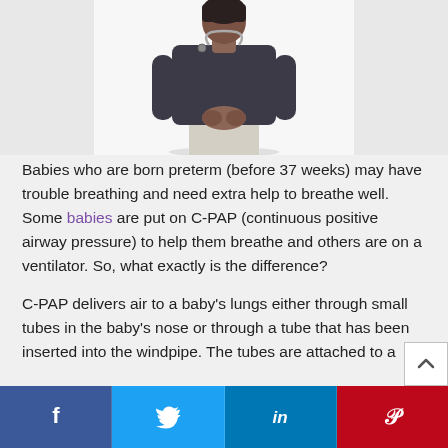[Figure (photo): A doctor (woman with stethoscope) wearing dark top and light pants, standing with hands clasped, photo cropped from mid-torso up, white background]
Babies who are born preterm (before 37 weeks) may have trouble breathing and need extra help to breathe well. Some babies are put on C-PAP (continuous positive airway pressure) to help them breathe and others are on a ventilator. So, what exactly is the difference?
C-PAP delivers air to a baby’s lungs either through small tubes in the baby’s nose or through a tube that has been inserted into the windpipe. The tubes are attached to a
[Figure (infographic): Social sharing bar with Facebook, Twitter, LinkedIn, and Pinterest buttons]